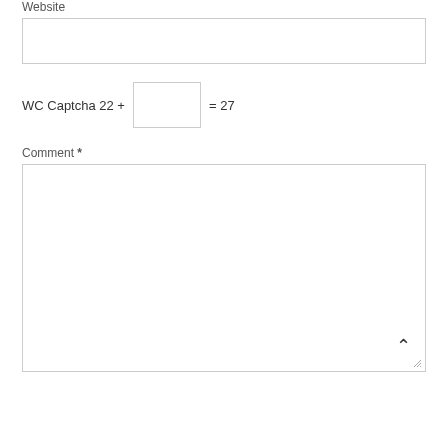Website
WC Captcha 22 + = 27
Comment *